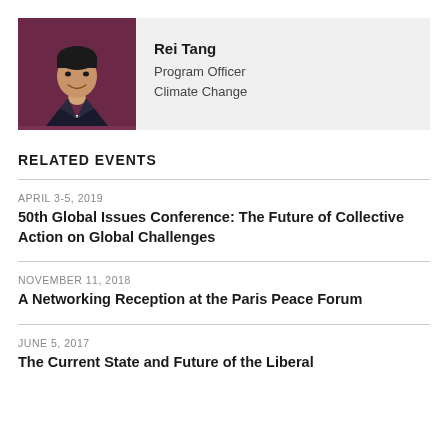[Figure (photo): Headshot of Rei Tang, a man in a dark suit smiling, with a dark purple/maroon background]
Rei Tang
Program Officer
Climate Change
RELATED EVENTS
APRIL 3-5, 2019
50th Global Issues Conference: The Future of Collective Action on Global Challenges
NOVEMBER 11, 2018
A Networking Reception at the Paris Peace Forum
JUNE 5, 2017
The Current State and Future of the Liberal